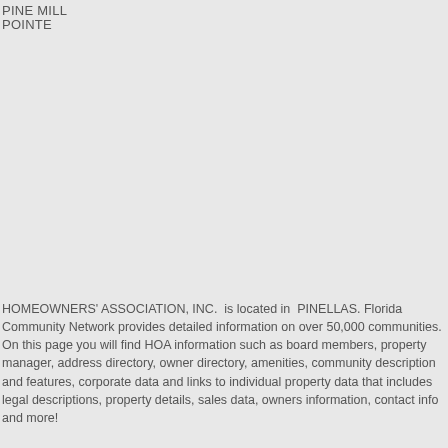PINE MILL
POINTE
HOMEOWNERS' ASSOCIATION, INC.  is located in  PINELLAS. Florida Community Network provides detailed information on over 50,000 communities. On this page you will find HOA information such as board members, property manager, address directory, owner directory, amenities, community description and features, corporate data and links to individual property data that includes legal descriptions, property details, sales data, owners information, contact info and more!